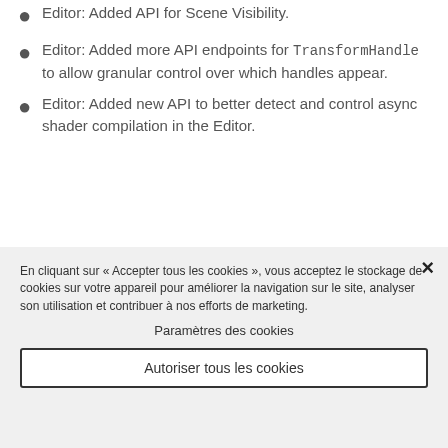Editor: Added API for Scene Visibility.
Editor: Added more API endpoints for TransformHandle to allow granular control over which handles appear.
Editor: Added new API to better detect and control async shader compilation in the Editor.
En cliquant sur « Accepter tous les cookies », vous acceptez le stockage de cookies sur votre appareil pour améliorer la navigation sur le site, analyser son utilisation et contribuer à nos efforts de marketing.
Paramètres des cookies
Autoriser tous les cookies